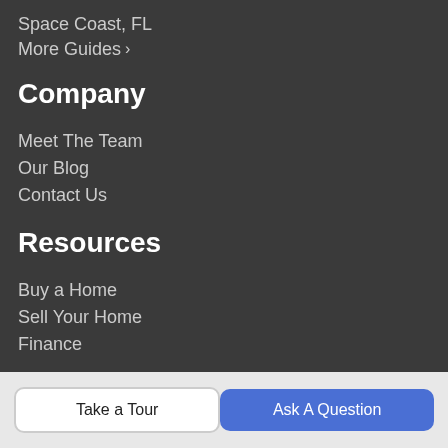Space Coast, FL
More Guides >
Company
Meet The Team
Our Blog
Contact Us
Resources
Buy a Home
Sell Your Home
Finance
Get Social
Take a Tour
Ask A Question